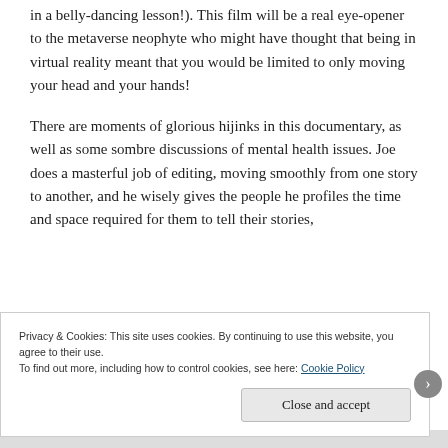in a belly-dancing lesson!). This film will be a real eye-opener to the metaverse neophyte who might have thought that being in virtual reality meant that you would be limited to only moving your head and your hands!
There are moments of glorious hijinks in this documentary, as well as some sombre discussions of mental health issues. Joe does a masterful job of editing, moving smoothly from one story to another, and he wisely gives the people he profiles the time and space required for them to tell their stories,
Privacy & Cookies: This site uses cookies. By continuing to use this website, you agree to their use.
To find out more, including how to control cookies, see here: Cookie Policy
Close and accept